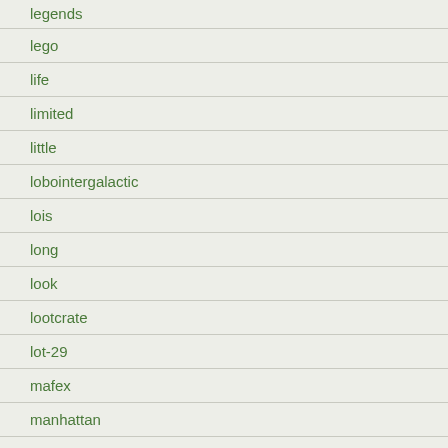legends
lego
life
limited
little
lobointergalactic
lois
long
look
lootcrate
lot-29
mafex
manhattan
mark
martian